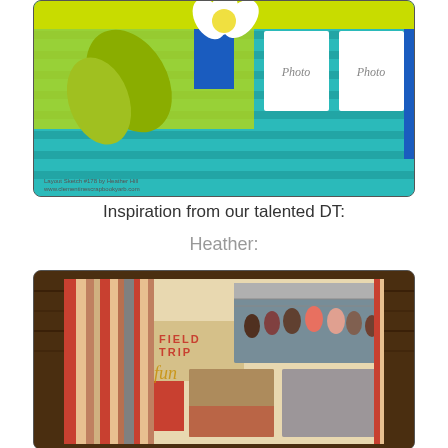[Figure (illustration): Scrapbook layout template with teal striped background, yellow-green decorative leaves, white flower, blue accent, and two white photo placeholders labeled 'Photo']
Inspiration from our talented DT:
Heather:
[Figure (photo): Photo of a scrapbook layout page with striped red/tan/cream pattern, text reading 'Field Trip Fun', group photo of children sitting on bleachers, and two smaller photos below showing children near a red barn]